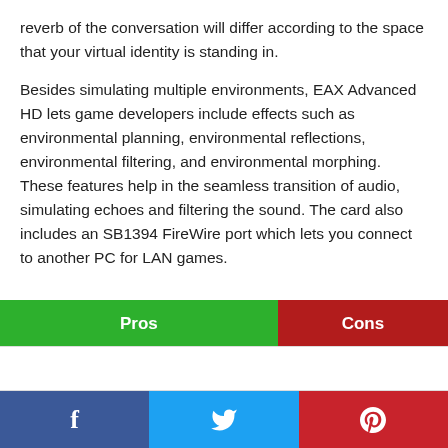reverb of the conversation will differ according to the space that your virtual identity is standing in.
Besides simulating multiple environments, EAX Advanced HD lets game developers include effects such as environmental planning, environmental reflections, environmental filtering, and environmental morphing. These features help in the seamless transition of audio, simulating echoes and filtering the sound. The card also includes an SB1394 FireWire port which lets you connect to another PC for LAN games.
| Pros | Cons |
| --- | --- |